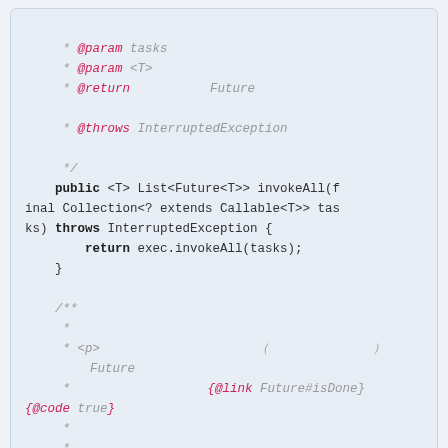Code snippet showing Java invokeAll method with Javadoc comments including @param, @return, @throws tags and a second Javadoc block